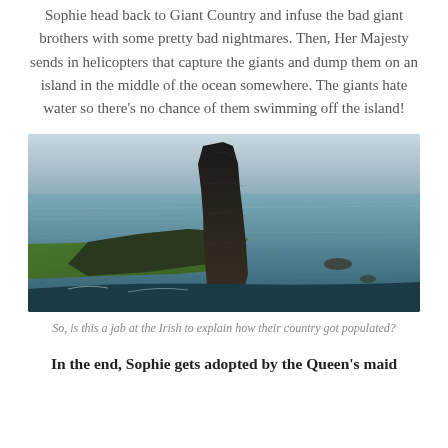Sophie head back to Giant Country and infuse the bad giant brothers with some pretty bad nightmares. Then, Her Majesty sends in helicopters that capture the giants and dump them on an island in the middle of the ocean somewhere. The giants hate water so there's no chance of them swimming off the island!
[Figure (photo): Aerial photograph of a dramatic rocky sea stack rising above green cliffs and dark ocean water]
So, is this a jab at the Irish to explain how their country got populated?
In the end, Sophie gets adopted by the Queen's maid